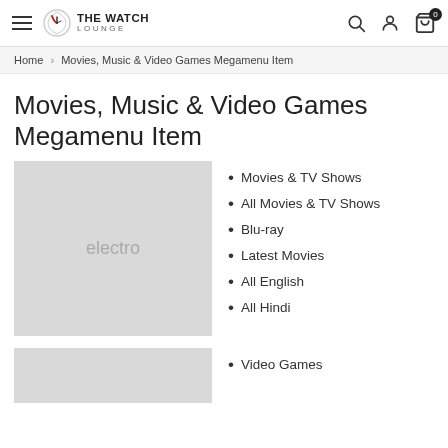THE WATCH LOUNGE — navigation bar with hamburger menu, search, account, and cart icons
Home › Movies, Music & Video Games Megamenu Item
Movies, Music & Video Games Megamenu Item
[Figure (other): Grey placeholder image with text 'electro']
Movies & TV Shows
All Movies & TV Shows
Blu-ray
Latest Movies
All English
All Hindi
[Figure (other): Grey placeholder image (second category)]
Video Games